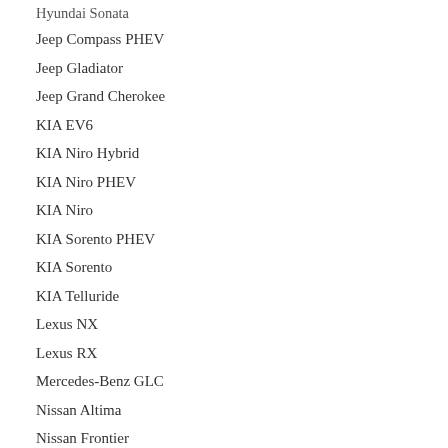Hyundai Sonata
Jeep Compass PHEV
Jeep Gladiator
Jeep Grand Cherokee
KIA EV6
KIA Niro Hybrid
KIA Niro PHEV
KIA Niro
KIA Sorento PHEV
KIA Sorento
KIA Telluride
Lexus NX
Lexus RX
Mercedes-Benz GLC
Nissan Altima
Nissan Frontier
Nissan Leaf